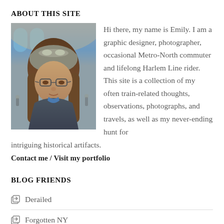ABOUT THIS SITE
[Figure (photo): Portrait photo of Emily wearing glasses and a knit hat with goggles, standing inside Grand Central Terminal with arched windows visible in background.]
Hi there, my name is Emily. I am a graphic designer, photographer, occasional Metro-North commuter and lifelong Harlem Line rider. This site is a collection of my often train-related thoughts, observations, photographs, and travels, as well as my never-ending hunt for intriguing historical artifacts.
Contact me / Visit my portfolio
BLOG FRIENDS
Derailed
Forgotten NY